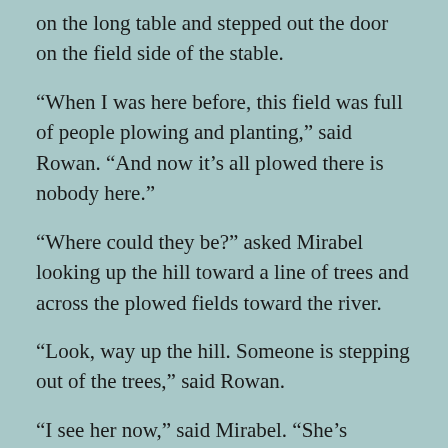on the long table and stepped out the door on the field side of the stable.
“When I was here before, this field was full of people plowing and planting,” said Rowan. “And now it’s all plowed there is nobody here.”
“Where could they be?” asked Mirabel looking up the hill toward a line of trees and across the plowed fields toward the river.
“Look, way up the hill. Someone is stepping out of the trees,” said Rowan.
“I see her now,” said Mirabel. “She’s coming this way. I think it might be Ellyn, who we met on the boat. She’s the only adult who is small enough that one could mistake her for a child. She came here to find wild food and to cook for all the workers.”
Mirabel and Rowan stepped out into the field where